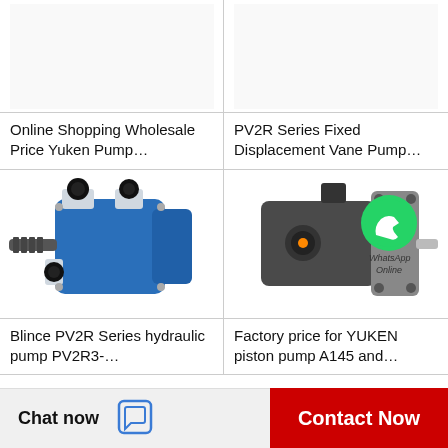[Figure (photo): Top-left cell: image area for Yuken pump product (white/empty background shown)]
Online Shopping Wholesale Price Yuken Pump…
[Figure (photo): Top-right cell: image area for PV2R Series Fixed Displacement Vane Pump (white/empty background shown)]
PV2R Series Fixed Displacement Vane Pump…
[Figure (photo): Bottom-left cell: blue hydraulic pump (Blince PV2R Series), blue body with black ports]
Blince PV2R Series hydraulic pump PV2R3-…
[Figure (photo): Bottom-right cell: grey/dark metal hydraulic pump with WhatsApp Online overlay icon]
Factory price for YUKEN piston pump A145 and…
Chat now
Contact Now